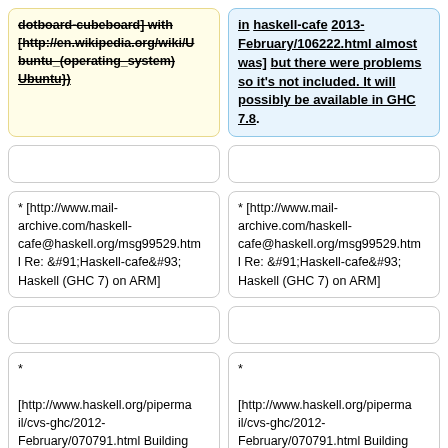dotboard-cubeboard] with [http://en.wikipedia.org/wiki/Ubuntu_(operating_system) Ubuntu})
in haskell-cafe 2013-February/106222.html almost was] but there were problems so it's not included. It will possibly be available in GHC 7.8.
* [http://www.mail-archive.com/haskell-cafe@haskell.org/msg99529.html Re: [Haskell-cafe] Haskell (GHC 7) on ARM]
* [http://www.mail-archive.com/haskell-cafe@haskell.org/msg99529.html Re: [Haskell-cafe] Haskell (GHC 7) on ARM]
* [http://www.haskell.org/pipermail/cvs-ghc/2012-February/070791.html Building a cross-compiler for ARM]
* [http://www.haskell.org/pipermail/cvs-ghc/2012-February/070791.html Building a cross-compiler for ARM]